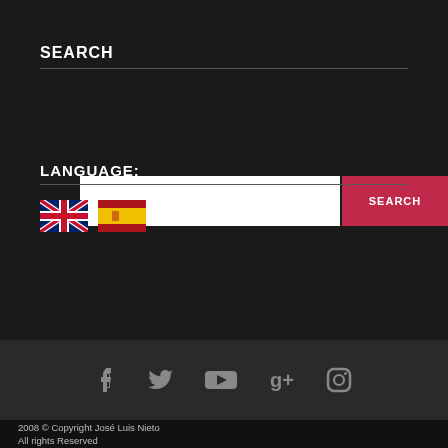SEARCH
[Figure (other): Search input box with white background and a red SEARCH button]
LANGUAGE:
[Figure (other): UK flag and Spanish flag icons for language selection]
[Figure (other): Social media icons: Facebook, Twitter, YouTube, Google+, Instagram]
2008 © Copyright José Luis Nieto
All rights Reserved